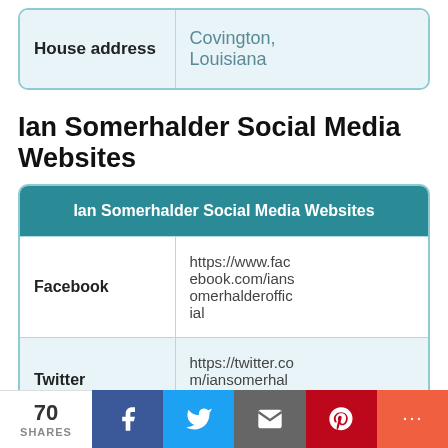| House address | Covington, Louisiana |
| --- | --- |
Ian Somerhalder Social Media Websites
| Ian Somerhalder Social Media Websites |
| --- |
| Facebook | https://www.facebook.com/iansomerhalderofficial |
| Twitter | https://twitter.com/iansomerhalder |
70 SHARES  [Facebook] [Twitter] [Email] [Pinterest] [More]